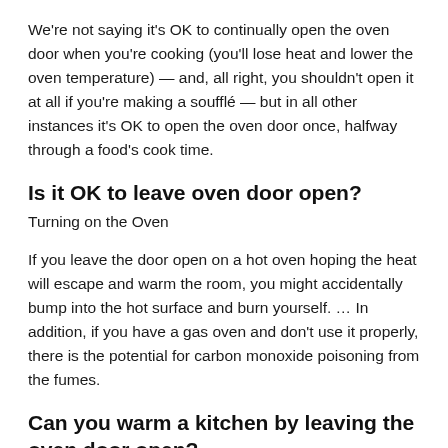We're not saying it's OK to continually open the oven door when you're cooking (you'll lose heat and lower the oven temperature) — and, all right, you shouldn't open it at all if you're making a soufflé — but in all other instances it's OK to open the oven door once, halfway through a food's cook time.
Is it OK to leave oven door open?
Turning on the Oven
If you leave the door open on a hot oven hoping the heat will escape and warm the room, you might accidentally bump into the hot surface and burn yourself. … In addition, if you have a gas oven and don't use it properly, there is the potential for carbon monoxide poisoning from the fumes.
Can you warm a kitchen by leaving the oven door open?
ANSWER: Yes, you can warm the kitchen in winter by leaving